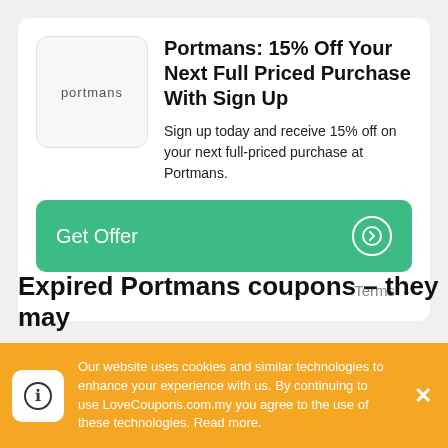[Figure (logo): Portmans brand logo in a rounded square box with light grey background, text 'portmans' in lowercase grey letters]
Portmans: 15% Off Your Next Full Priced Purchase With Sign Up
Sign up today and receive 15% off on your next full-priced purchase at Portmans.
Get Offer
Terms
Expired Portmans coupons – they may
Our website uses cookies and similar technologies to enhance your experience with us. By continuing to use LoveCoupons.com.my you agree to the use of these technologies. Read more.